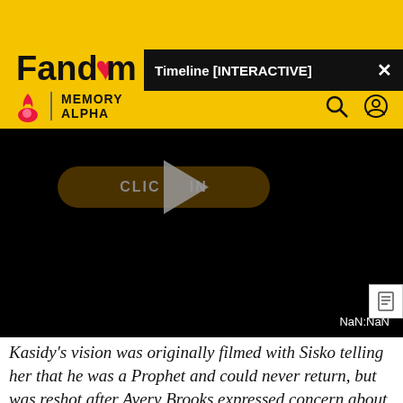[Figure (screenshot): Fandom website header with yellow background, Memory Alpha logo, black popup bar overlay with title 'Timeline [INTERACTIVE]', and a video player showing 'CLICK TO BEGIN' button with play icon and NaN:NaN time display]
Kasidy's vision was originally filmed with Sisko telling her that he was a Prophet and could never return, but was reshot after Avery Brooks expressed concern about Sisko being seen as fulfilling the stereotype of a black man leaving his pregnant wife alone before she gives birth to